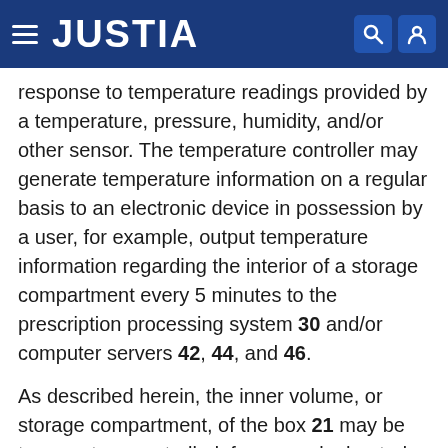JUSTIA
response to temperature readings provided by a temperature, pressure, humidity, and/or other sensor. The temperature controller may generate temperature information on a regular basis to an electronic device in possession by a user, for example, output temperature information regarding the interior of a storage compartment every 5 minutes to the prescription processing system 30 and/or computer servers 42, 44, and 46.
As described herein, the inner volume, or storage compartment, of the box 21 may be temperature-controlled, for example, heated or cooled. In some embodiments where the storage compartment includes multiple sections or sub-compartments, the sub-compartments are maintained at one temperature by a sensor, while another sub-compartment is maintained